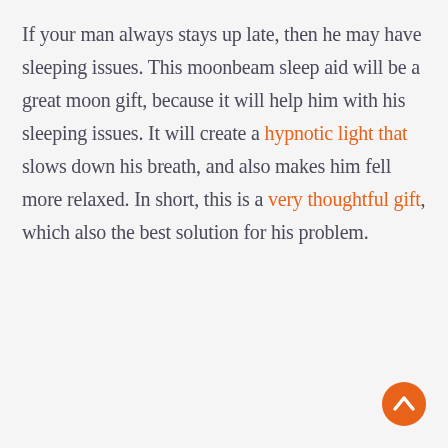If your man always stays up late, then he may have sleeping issues. This moonbeam sleep aid will be a great moon gift, because it will help him with his sleeping issues. It will create a hypnotic light that slows down his breath, and also makes him fell more relaxed. In short, this is a very thoughtful gift, which also the best solution for his problem.
[Figure (other): Orange circular back-to-top button with white upward chevron arrow, positioned at bottom-right corner.]